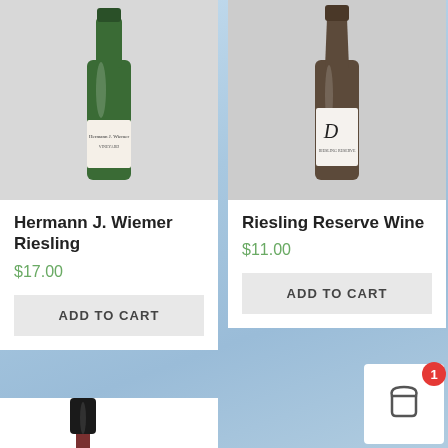[Figure (photo): Green wine bottle with Hermann J. Wiemer Vineyard label]
Hermann J. Wiemer Riesling
$17.00
ADD TO CART
[Figure (photo): Dark wine bottle with D Riesling Reserve Wine label]
Riesling Reserve Wine
$11.00
ADD TO CART
[Figure (photo): Dark red wine bottle partially visible at bottom]
[Figure (other): Shopping cart icon with badge showing 1 item]